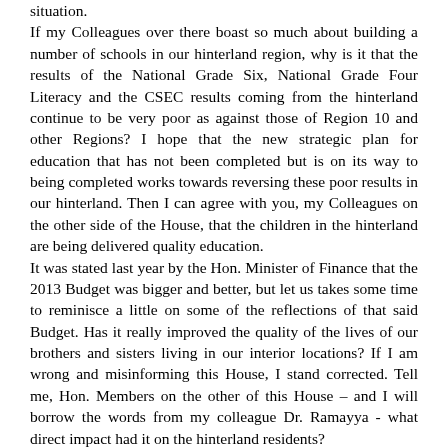situation.
If my Colleagues over there boast so much about building a number of schools in our hinterland region, why is it that the results of the National Grade Six, National Grade Four Literacy and the CSEC results coming from the hinterland continue to be very poor as against those of Region 10 and other Regions? I hope that the new strategic plan for education that has not been completed but is on its way to being completed works towards reversing these poor results in our hinterland. Then I can agree with you, my Colleagues on the other side of the House, that the children in the hinterland are being delivered quality education.
It was stated last year by the Hon. Minister of Finance that the 2013 Budget was bigger and better, but let us takes some time to reminisce a little on some of the reflections of that said Budget. Has it really improved the quality of the lives of our brothers and sisters living in our interior locations? If I am wrong and misinforming this House, I stand corrected. Tell me, Hon. Members on the other of this House – and I will borrow the words from my colleague Dr. Ramayya - what direct impact had it on the hinterland residents?
One of the cries is that there are still limited job opportunities for our young people and I believe that it is time for the youths to have access to technical or vocational centres in Regions 1, 7 and 8, whereby they can be empowered with appropriate skills to